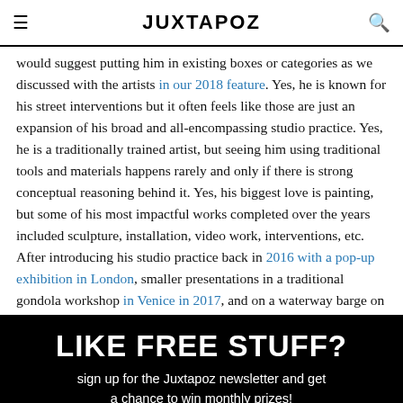JUXTAPOZ
would suggest putting him in existing boxes or categories as we discussed with the artists in our 2018 feature. Yes, he is known for his street interventions but it often feels like those are just an expansion of his broad and all-encompassing studio practice. Yes, he is a traditionally trained artist, but seeing him using traditional tools and materials happens rarely and only if there is strong conceptual reasoning behind it. Yes, his biggest love is painting, but some of his most impactful works completed over the years included sculpture, installation, video work, interventions, etc. After introducing his studio practice back in 2016 with a pop-up exhibition in London, smaller presentations in a traditional gondola workshop in Venice in 2017, and on a waterway barge on the Seine in Paris in 2018. Deiac is about to reveal his arguably most elaborate
LIKE FREE STUFF?
sign up for the Juxtapoz newsletter and get a chance to win monthly prizes!
example@example.com